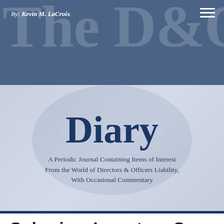By: Kevin M. LaCroix — The D&O Diary
Diary
A Periodic Journal Containing Items of Interest From the World of Directors & Officers Liability, With Occasional Commentary
Subprime Investors Sue Rating Agency
By Kevin LaCroix on June 8, 2008
Posted in Subprime Litigation